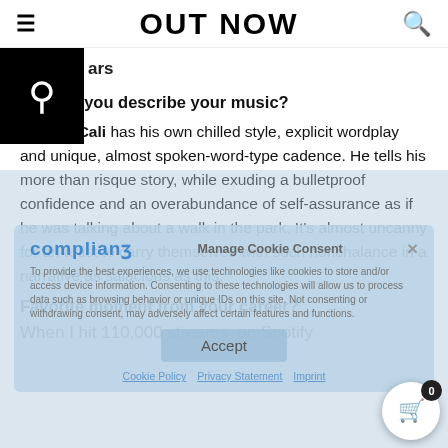OUT NOW
…ars
How do you describe your music?
King of Cali has his own chilled style, explicit wordplay and unique, almost spoken-word-type cadence. He tells his more than risque story, while exuding a bulletproof confidence and an overabudance of self-assurance as if he was talking about a walk in the park. It's almost uncanny for an artist to carry themselves with such nonchalance in a narrative as salacious as this.
Favorite moment from your career?
When I hit 110,000 streams  on Spotify